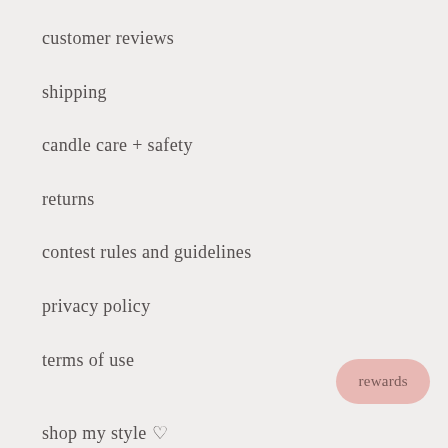customer reviews
shipping
candle care + safety
returns
contest rules and guidelines
privacy policy
terms of use
shop my style ♡